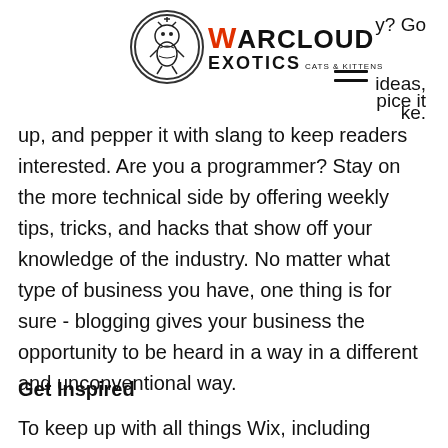[Figure (logo): Warcloud Exotics Cats & Kittens logo with circular emblem and stylized text]
y? Go
ideas,
ke.
pice it
up, and pepper it with slang to keep readers interested. Are you a programmer? Stay on the more technical side by offering weekly tips, tricks, and hacks that show off your knowledge of the industry. No matter what type of business you have, one thing is for sure - blogging gives your business the opportunity to be heard in a way in a different and unconventional way.
Get Inspired
To keep up with all things Wix, including